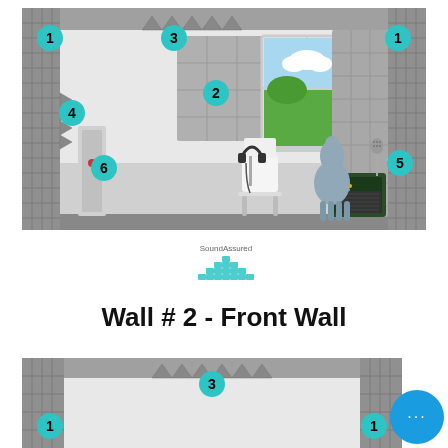[Figure (illustration): Room acoustic treatment diagram showing a studio room with numbered markers (1-6). Acoustic panels on walls, a window with sky/cloud scene, a llama figurine, a guitar amplifier, headphones on a stand, a microphone on stand, and a chair. Numbered cyan circles mark key acoustic treatment positions.]
[Figure (logo): SoundAssured logo with text above a stylized mountain/triangle shape made of small dots or tiles in teal/turquoise color.]
Wall # 2 - Front Wall
[Figure (illustration): Partial bottom room diagram showing the front wall with numbered markers 1, 3, 1. Acoustic panels in corners and a sawtooth pattern along the top center ceiling area. A blue chat/message button circle overlaps the right side.]